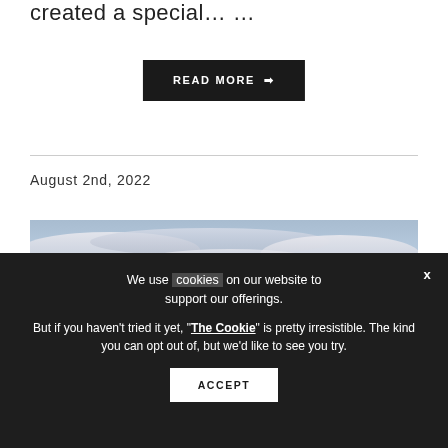created a special… …
READ MORE →
August 2nd, 2022
[Figure (photo): Sky photograph showing clouds with blue and warm tones]
We use cookies on our website to support our offerings.

But if you haven't tried it yet, "The Cookie" is pretty irresistible. The kind you can opt out of, but we'd like to see you try.
ACCEPT